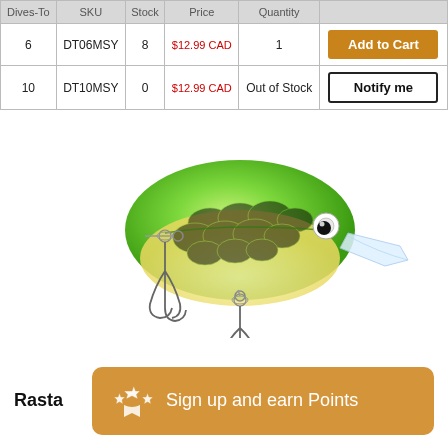| Dives-To | SKU | Stock | Price | Quantity |  |
| --- | --- | --- | --- | --- | --- |
| 6 | DT06MSY | 8 | $12.99 CAD | 1 | Add to Cart |
| 10 | DT10MSY | 0 | $12.99 CAD | Out of Stock | Notify me |
[Figure (photo): A Rapala Dives-To crankbait fishing lure in Rasta color — green and yellow body with treble hooks and a clear diving lip]
Rasta
Sign up and earn Points